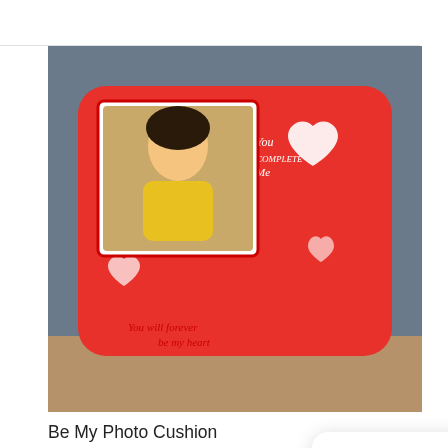[Figure (photo): Red photo cushion with a woman's photo in a square frame, heart designs, and text 'You Complete Me' and 'You will forever be my heart']
Be My Photo Cushion
Rs 349
Earliest Delivery: 2-3 days
[Figure (photo): Dark themed photo cushion with film reel design, circular photo frame with a couple, and text 'The Day We Met', 'NEHA & ANIL']
Hello! Tap here if you need any help 😊
[Figure (other): Flower chat support icon — pink tulip on green stem on white circular background]